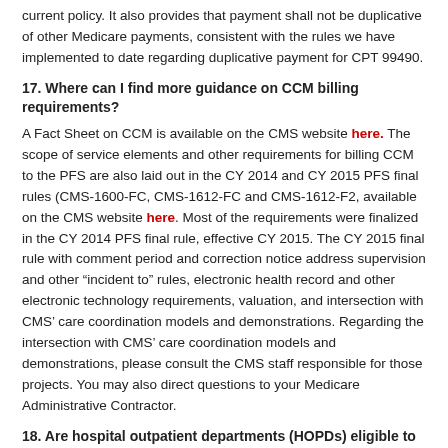current policy. It also provides that payment shall not be duplicative of other Medicare payments, consistent with the rules we have implemented to date regarding duplicative payment for CPT 99490.
17. Where can I find more guidance on CCM billing requirements?
A Fact Sheet on CCM is available on the CMS website here. The scope of service elements and other requirements for billing CCM to the PFS are also laid out in the CY 2014 and CY 2015 PFS final rules (CMS-1600-FC, CMS-1612-FC and CMS-1612-F2, available on the CMS website here. Most of the requirements were finalized in the CY 2014 PFS final rule, effective CY 2015. The CY 2015 final rule with comment period and correction notice address supervision and other “incident to” rules, electronic health record and other electronic technology requirements, valuation, and intersection with CMS’ care coordination models and demonstrations. Regarding the intersection with CMS’ care coordination models and demonstrations, please consult the CMS staff responsible for those projects. You may also direct questions to your Medicare Administrative Contractor.
18. Are hospital outpatient departments (HOPDs) eligible to bill CPT code 99490 under the OPPS?